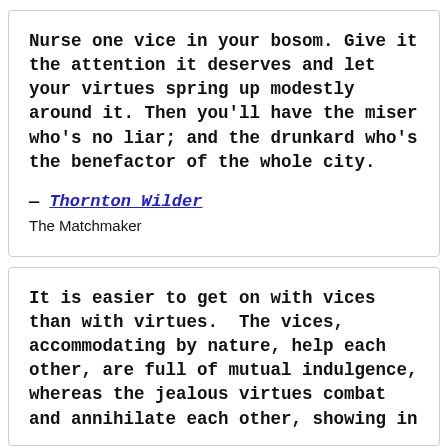Nurse one vice in your bosom. Give it the attention it deserves and let your virtues spring up modestly around it. Then you'll have the miser who's no liar; and the drunkard who's the benefactor of the whole city.
— Thornton Wilder
The Matchmaker
It is easier to get on with vices than with virtues.  The vices, accommodating by nature, help each other, are full of mutual indulgence, whereas the jealous virtues combat and annihilate each other, showing in